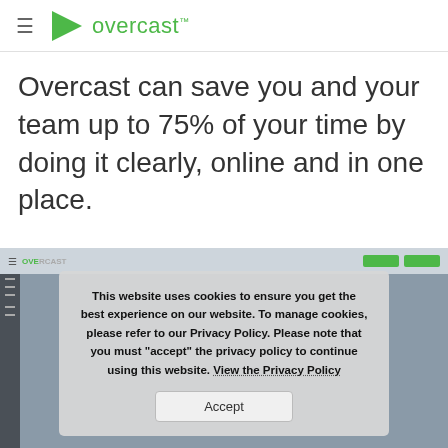≡  overcast™
Overcast can save you and your team up to 75% of your time by doing it clearly, online and in one place.
[Figure (screenshot): Screenshot of the Overcast web application interface showing a sidebar navigation and content area, partially obscured by a cookie consent dialog.]
This website uses cookies to ensure you get the best experience on our website. To manage cookies, please refer to our Privacy Policy. Please note that you must "accept" the privacy policy to continue using this website. View the Privacy Policy
Accept